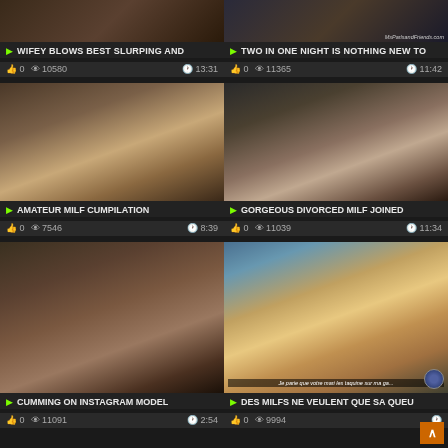[Figure (screenshot): Video thumbnail 1 - top partial]
WIFEY BLOWS BEST SLURPING AND
0  10580  13:31
[Figure (screenshot): Video thumbnail 2 - top partial with MsParlsandFriends.com watermark]
TWO IN ONE NIGHT IS NOTHING NEW TO
0  11365  11:42
[Figure (screenshot): Video thumbnail 3 - amateur milf]
AMATEUR MILF CUMPILATION
0  7546  8:39
[Figure (screenshot): Video thumbnail 4 - gorgeous divorced milf]
GORGEOUS DIVORCED MILF JOINED
0  11039  11:34
[Figure (screenshot): Video thumbnail 5 - cumming on instagram model]
CUMMING ON INSTAGRAM MODEL
0  11091  2:54
[Figure (screenshot): Video thumbnail 6 - anime/hentai content with French subtitle]
DES MILFS NE VEULENT QUE SA QUEU
0  9994